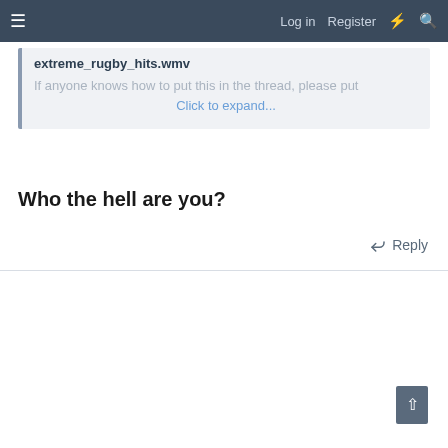≡   Log in   Register   ⚡   🔍
extreme_rugby_hits.wmv
If anyone knows how to put this in the thread, please put
Click to expand...
Who the hell are you?
↩ Reply